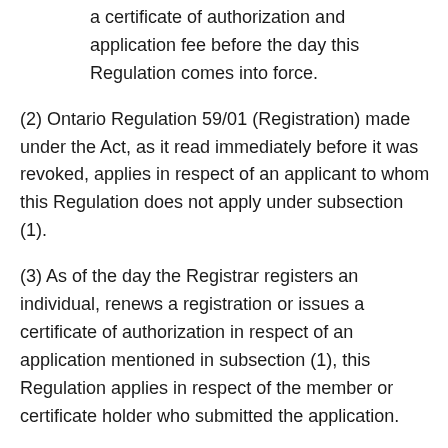a certificate of authorization and application fee before the day this Regulation comes into force.
(2) Ontario Regulation 59/01 (Registration) made under the Act, as it read immediately before it was revoked, applies in respect of an applicant to whom this Regulation does not apply under subsection (1).
(3) As of the day the Registrar registers an individual, renews a registration or issues a certificate of authorization in respect of an application mentioned in subsection (1), this Regulation applies in respect of the member or certificate holder who submitted the application.